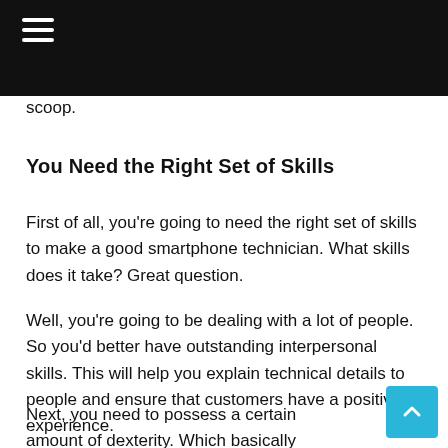≡
scoop.
You Need the Right Set of Skills
First of all, you're going to need the right set of skills to make a good smartphone technician. What skills does it take? Great question.
Well, you're going to be dealing with a lot of people. So you'd better have outstanding interpersonal skills. This will help you explain technical details to people and ensure that customers have a positive experience.
Next, you need to possess a certain amount of dexterity. Which basically means you're good